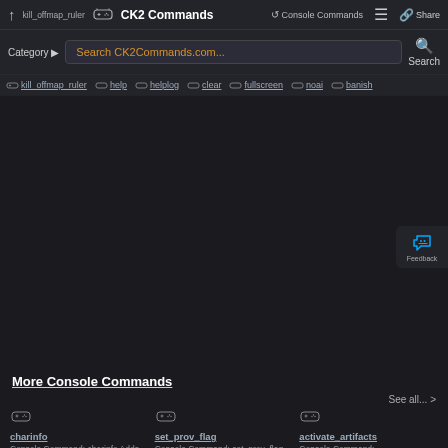kill_offmap_ruler  CK2 Commands  Console Commands  Share
Category  Search CK2Commands.com...  Search
kill_offmap_ruler  help  helplog  clear  fullscreen  noai  banish
[Figure (illustration): Feedback button with megaphone icon]
More Console Commands
See all... >
charinfo Console Command: charinfo Adds
set_prov_flag Console Command: set_prov_flag Sets a
activate_artifacts Console Command: activate_artifacts All